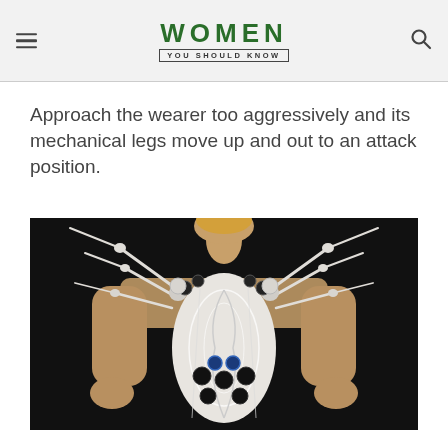WOMEN YOU SHOULD KNOW
Approach the wearer too aggressively and its mechanical legs move up and out to an attack position.
[Figure (photo): A woman wearing an elaborate mechanical/robotic corset dress with white skeletal spider-leg-like appendages extending outward from the shoulders and torso, photographed against a dark background. The dress features intricate lattice-work and dark spherical accents.]